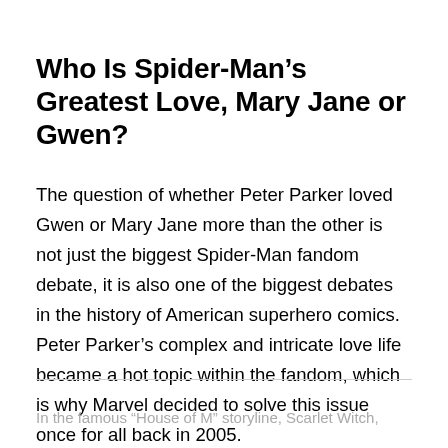Who Is Spider-Man’s Greatest Love, Mary Jane or Gwen?
The question of whether Peter Parker loved Gwen or Mary Jane more than the other is not just the biggest Spider-Man fandom debate, it is also one of the biggest debates in the history of American superhero comics. Peter Parker’s complex and intricate love life became a hot topic within the fandom, which is why Marvel decided to solve this issue once for all back in 2005.
In the famous “House of M” storyline, Scarlet Witch,